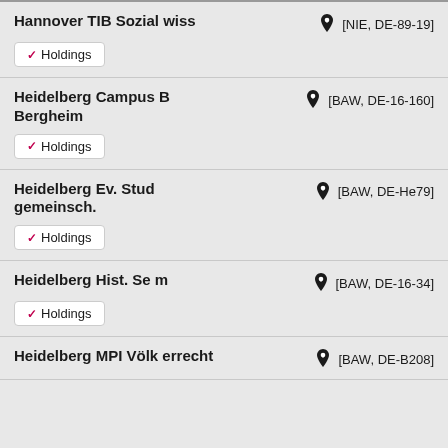Hannover TIB Sozial wiss [NIE, DE-89-19] Holdings
Heidelberg Campus B Bergheim [BAW, DE-16-160] Holdings
Heidelberg Ev. Stud gemeinsch. [BAW, DE-He79] Holdings
Heidelberg Hist. Se m [BAW, DE-16-34] Holdings
Heidelberg MPI Völk errecht [BAW, DE-B208]